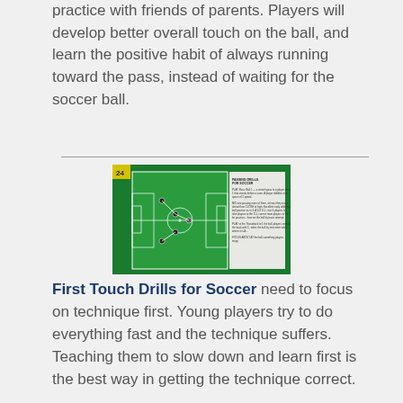practice with friends of parents. Players will develop better overall touch on the ball, and learn the positive habit of always running toward the pass, instead of waiting for the soccer ball.
[Figure (illustration): Soccer drill diagram showing a green football pitch with player positions, movement arrows, and instructional text panel on the right side. Yellow label in top-left corner.]
First Touch Drills for Soccer need to focus on technique first. Young players try to do everything fast and the technique suffers. Teaching them to slow down and learn first is the best way in getting the technique correct.